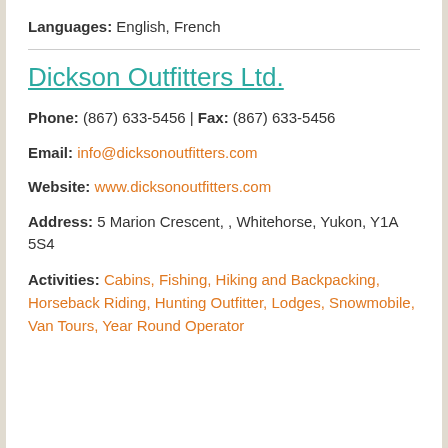Languages: English, French
Dickson Outfitters Ltd.
Phone: (867) 633-5456 | Fax: (867) 633-5456
Email: info@dicksonoutfitters.com
Website: www.dicksonoutfitters.com
Address: 5 Marion Crescent, , Whitehorse, Yukon, Y1A 5S4
Activities: Cabins, Fishing, Hiking and Backpacking, Horseback Riding, Hunting Outfitter, Lodges, Snowmobile, Van Tours, Year Round Operator